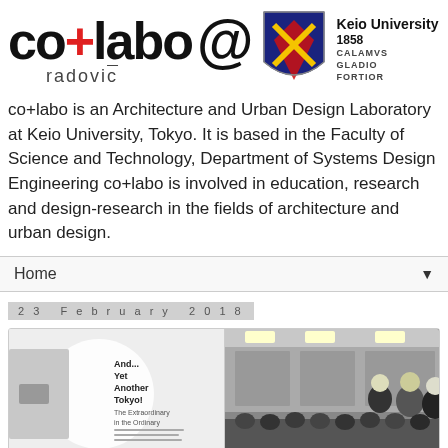[Figure (logo): co+labo @ radovic logo with Keio University shield and name (1858, CALAMVS GLADIO FORTIOR)]
co+labo is an Architecture and Urban Design Laboratory at Keio University, Tokyo. It is based in the Faculty of Science and Technology, Department of Systems Design Engineering co+labo is involved in education, research and design-research in the fields of architecture and urban design.
Home ▼
23 February 2018
[Figure (photo): Two side-by-side images: left shows an exhibition poster reading 'And... Yet Another Tokyo! The Extraordinary in the Ordinary'; right shows a group of people at an event/lecture in a bright interior space.]